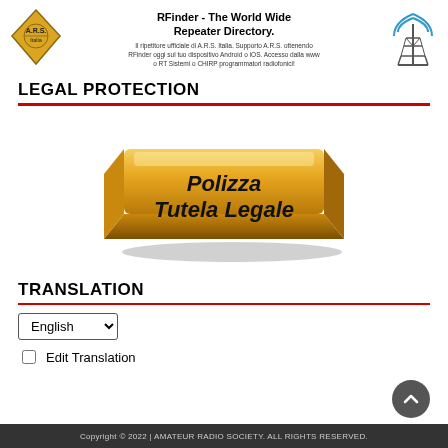[Figure (logo): RFinder header with ARS Italy diamond logo on left, antenna tower graphic on right, center text showing RFinder - The World Wide Repeater Directory and Italian subtitle text]
LEGAL PROTECTION
[Figure (illustration): 3D golden button/key-cap with text 'Polizza Tutela Legale' in bold black italic font]
TRANSLATION
English (dropdown) Edit Translation (checkbox)
Copyright © 2022 | AMATEUR RADIO SOCIETY. ALL RIGHTS RESERVED.